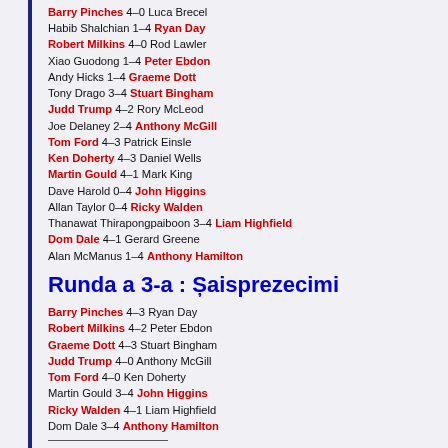Barry Pinches 4–0 Luca Brecel
Habib Shalchian 1–4 Ryan Day
Robert Milkins 4–0 Rod Lawler
Xiao Guodong 1–4 Peter Ebdon
Andy Hicks 1–4 Graeme Dott
Tony Drago 3–4 Stuart Bingham
Judd Trump 4–2 Rory McLeod
Joe Delaney 2–4 Anthony McGill
Tom Ford 4–3 Patrick Einsle
Ken Doherty 4–3 Daniel Wells
Martin Gould 4–1 Mark King
Dave Harold 0–4 John Higgins
Allan Taylor 0–4 Ricky Walden
Thanawat Thirapongpaiboon 3–4 Liam Highfield
Dom Dale 4–1 Gerard Greene
Alan McManus 1–4 Anthony Hamilton
Runda a 3-a : Șaisprezecimi
Barry Pinches 4–3 Ryan Day
Robert Milkins 4–2 Peter Ebdon
Graeme Dott 4–3 Stuart Bingham
Judd Trump 4–0 Anthony McGill
Tom Ford 4–0 Ken Doherty
Martin Gould 3–4 John Higgins
Ricky Walden 4–1 Liam Highfield
Dom Dale 3–4 Anthony Hamilton